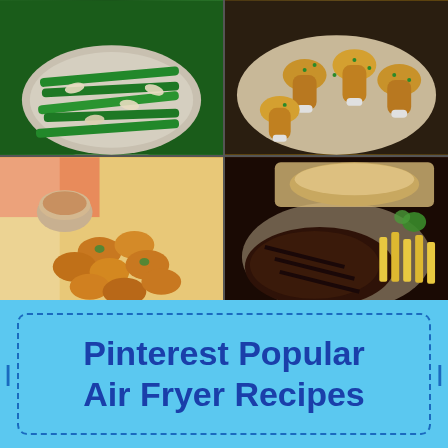[Figure (photo): 2x2 grid of food photos: top-left shows green beans with almond slices in a ceramic bowl, top-right shows glazed chicken drumsticks topped with chives on a plate, bottom-left shows golden fried items (possibly oysters or fritters) with dipping sauce, bottom-right shows grilled steak with fries and garnish]
Pinterest Popular Air Fryer Recipes